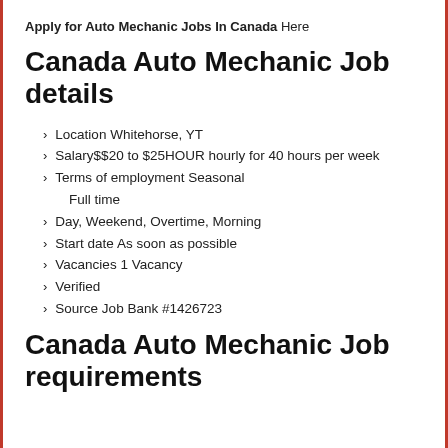Apply for Auto Mechanic Jobs In Canada Here
Canada Auto Mechanic Job details
Location Whitehorse, YT
Salary$$20 to $25HOUR hourly for 40 hours per week
Terms of employment Seasonal Full time
Day, Weekend, Overtime, Morning
Start date As soon as possible
Vacancies 1 Vacancy
Verified
Source Job Bank #1426723
Canada Auto Mechanic Job requirements